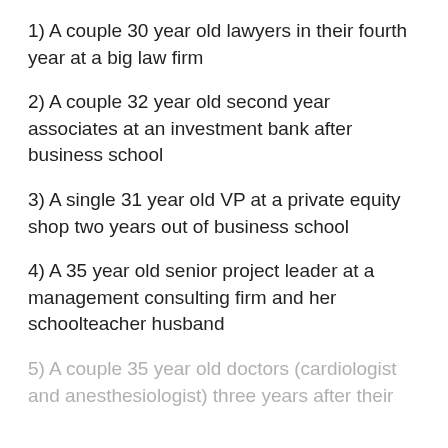1) A couple 30 year old lawyers in their fourth year at a big law firm
2) A couple 32 year old second year associates at an investment bank after business school
3) A single 31 year old VP at a private equity shop two years out of business school
4) A 35 year old senior project leader at a management consulting firm and her schoolteacher husband
5) A couple 35 year old doctors (cardiologist and anesthesiologist) three years after their